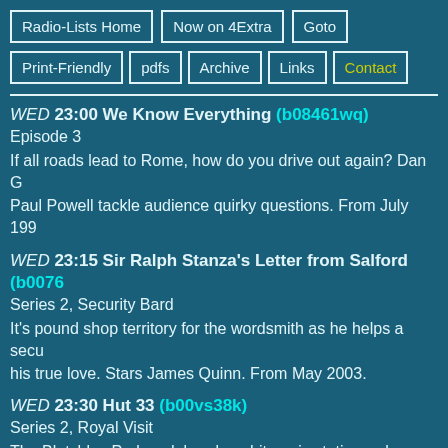Radio-Lists Home
Now on 4Extra
Goto
Print-Friendly
pdfs
Archive
Links
Contact
WED 23:00 We Know Everything (b08461wq)
Episode 3

If all roads lead to Rome, how do you drive out again? Dan G Paul Powell tackle audience quirky questions. From July 199
WED 23:15 Sir Ralph Stanza's Letter from Salford (b0076
Series 2, Security Bard

It's pound shop territory for the wordsmith as he helps a secu his true love. Stars James Quinn. From May 2003.
WED 23:30 Hut 33 (b00vs38k)
Series 2, Royal Visit

The Bletchley Park codebreakers hit panic stations when a ro arrives. Stars Robert Bathurst. From May 2008.